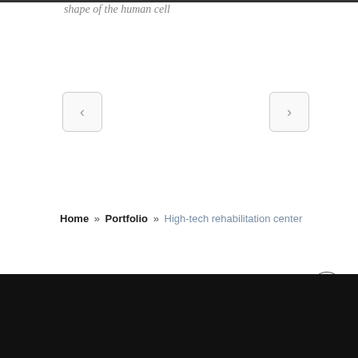shape of the human cell
[Figure (other): Navigation carousel left arrow button (rounded rectangle with < chevron)]
[Figure (other): Navigation carousel right arrow button (rounded rectangle with > chevron)]
Home » Portfolio » High-tech rehabilitation center
(black footer bar)